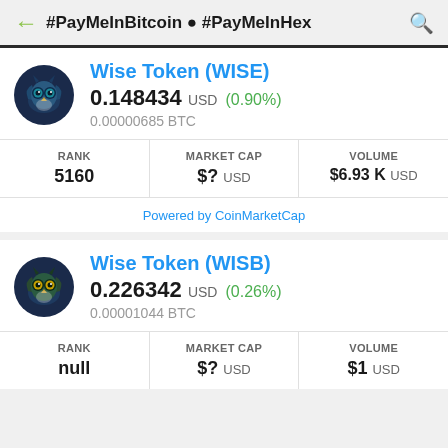#PayMeInBitcoin ● #PayMeInHex
Wise Token (WISE)
0.148434 USD (0.90%)
0.00000685 BTC
| RANK | MARKET CAP | VOLUME |
| --- | --- | --- |
| 5160 | $? USD | $6.93 K USD |
Powered by CoinMarketCap
Wise Token (WISB)
0.226342 USD (0.26%)
0.00001044 BTC
| RANK | MARKET CAP | VOLUME |
| --- | --- | --- |
| null | $? USD | $1 USD |